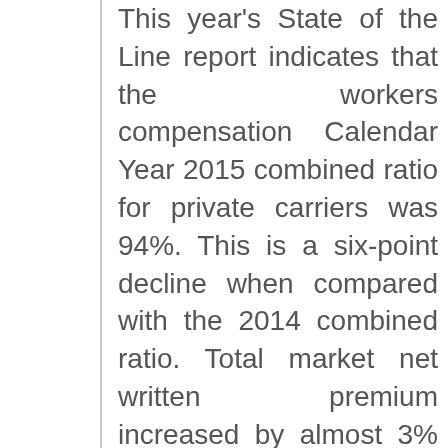This year's State of the Line report indicates that the workers compensation Calendar Year 2015 combined ratio for private carriers was 94%. This is a six-point decline when compared with the 2014 combined ratio. Total market net written premium increased by almost 3% to $45.5 billion, driven primarily by an increase in payroll.
Other market indicators and trends highlighted in NCCI's 2016 State of the Line report